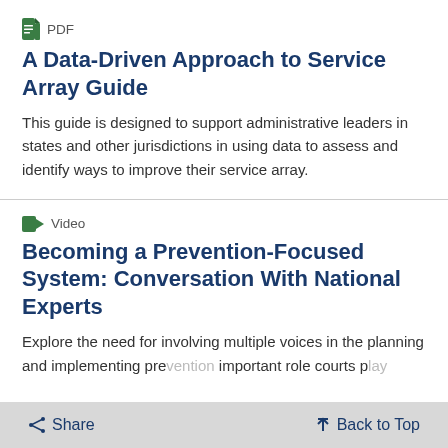PDF
A Data-Driven Approach to Service Array Guide
This guide is designed to support administrative leaders in states and other jurisdictions in using data to assess and identify ways to improve their service array.
Video
Becoming a Prevention-Focused System: Conversation With National Experts
Explore the need for involving multiple voices in the planning and implementing pre... important role courts p...
< Share    ↑ Back to Top